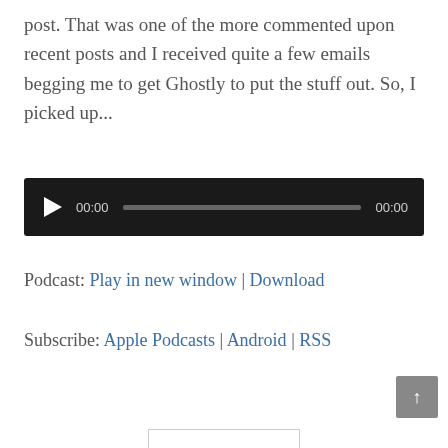post. That was one of the more commented upon recent posts and I received quite a few emails begging me to get Ghostly to put the stuff out. So, I picked up...
[Figure (other): Audio player widget with black background, play button, time display showing 00:00, progress bar, and end time 00:00]
Podcast: Play in new window | Download
Subscribe: Apple Podcasts | Android | RSS